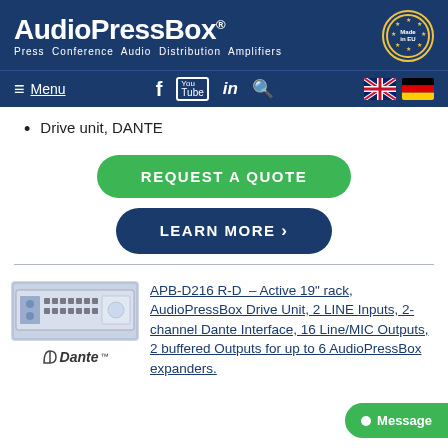AudioPressBox® — Press Conference Audio Distribution Amplifiers — Made in EU
Menu — Facebook, YouTube, LinkedIn, Search — EN / DE
Drive unit, DANTE
REQUEST A QUOTE
LEARN MORE ›
[Figure (photo): APB-D216 R-D rack unit product photo with Dante logo]
APB-D216 R-D  – Active 19" rack, AudioPressBox Drive Unit, 2 LINE Inputs, 2-channel Dante Interface, 16 Line/MIC Outputs, 2 buffered Outputs for up to 6 AudioPressBox expanders.
Message